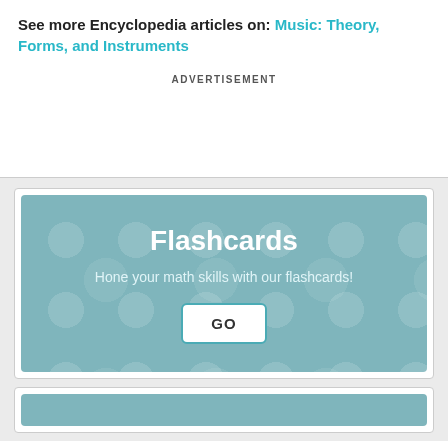See more Encyclopedia articles on: Music: Theory, Forms, and Instruments
ADVERTISEMENT
[Figure (infographic): Flashcards promotional widget on teal background with polka dot pattern. Title: Flashcards. Subtitle: Hone your math skills with our flashcards! GO button in white box with teal border.]
[Figure (infographic): Partial second card widget with teal background, cropped at bottom of page.]